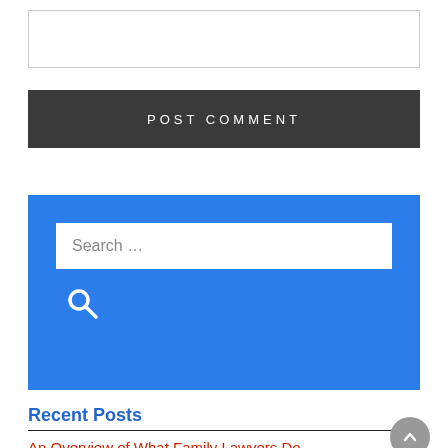[Figure (screenshot): Empty text input box for comment]
POST COMMENT
[Figure (screenshot): Blue search widget with a white search input box labeled 'Search ...' and a search icon button below]
Recent Posts
An Overview of What Family Lawyers Do